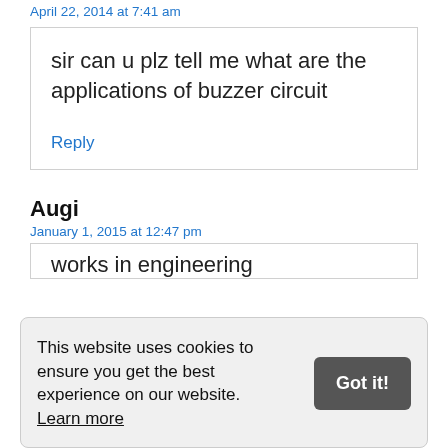April 22, 2014 at 7:41 am
sir can u plz tell me what are the applications of buzzer circuit
Reply
Augi
January 1, 2015 at 12:47 pm
This website uses cookies to ensure you get the best experience on our website. Learn more
Got it!
works in engineering